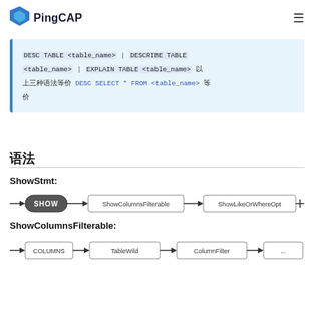PingCAP
DESC TABLE <table_name> | DESCRIBE TABLE <table_name> | EXPLAIN TABLE <table_name> 以上三种语法等价 DESC SELECT * FROM <table_name> 等价
语法
ShowStmt:
[Figure (flowchart): Railroad diagram for ShowStmt: arrow -> SHOW box -> ShowColumnsFilterable box -> ShowLikeOrWhereOpt box -> arrow]
ShowColumnsFilterable:
[Figure (flowchart): Partial railroad diagram for ShowColumnsFilterable (cut off at bottom of page)]